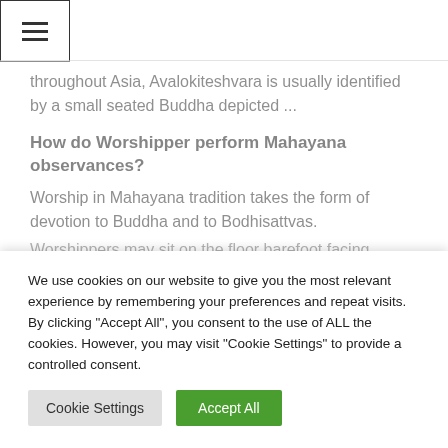☰ (hamburger menu icon)
throughout Asia, Avalokiteshvara is usually identified by a small seated Buddha depicted ...
How do Worshipper perform Mahayana observances?
Worship in Mahayana tradition takes the form of devotion to Buddha and to Bodhisattvas. Worshippers may sit on the floor barefoot facing...
We use cookies on our website to give you the most relevant experience by remembering your preferences and repeat visits. By clicking "Accept All", you consent to the use of ALL the cookies. However, you may visit "Cookie Settings" to provide a controlled consent.